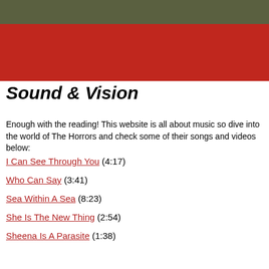[Figure (photo): Photo of a band (The Horrors) with dark green/olive background at top, transitioning to a large red/crimson block below]
Sound & Vision
Enough with the reading! This website is all about music so dive into the world of The Horrors and check some of their songs and videos below:
I Can See Through You (4:17)
Who Can Say (3:41)
Sea Within A Sea (8:23)
She Is The New Thing (2:54)
Sheena Is A Parasite (1:38)